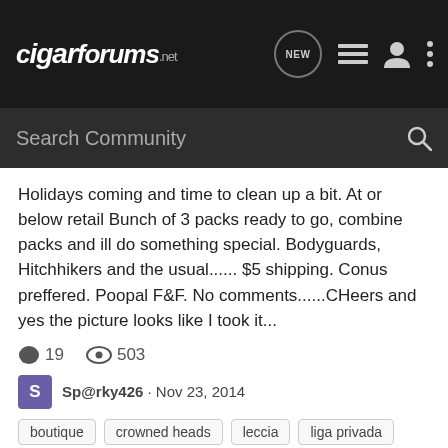cigarforums.net
Holidays coming and time to clean up a bit. At or below retail Bunch of 3 packs ready to go, combine packs and ill do something special. Bodyguards, Hitchhikers and the usual...... $5 shipping. Conus preffered. Poopal F&F. No comments......CHeers and yes the picture looks like I took it...
19  503
Sp@rky426 · Nov 23, 2014
boutique  crowned heads  leccia  liga privada  padron
LARGE BOX/SAMPLER SALE(LP, Tat, Viaje, Padron, HG, VSG, etc)
Want to Sell/Trade (WTS)